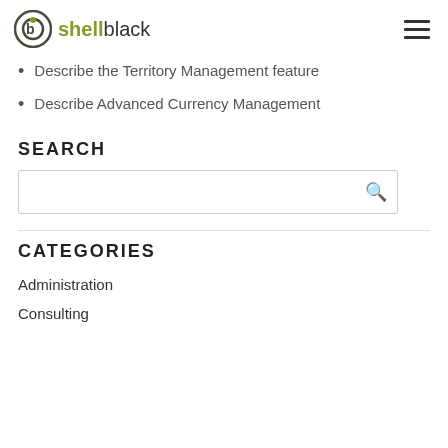shellblack
Describe the Territory Management feature
Describe Advanced Currency Management
SEARCH
CATEGORIES
Administration
Consulting